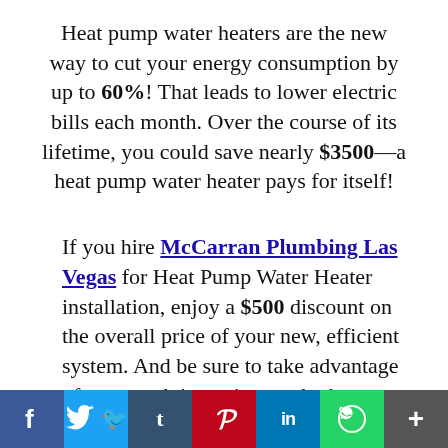Heat pump water heaters are the new way to cut your energy consumption by up to 60%! That leads to lower electric bills each month. Over the course of its lifetime, you could save nearly $3500—a heat pump water heater pays for itself!
If you hire McCarran Plumbing Las Vegas for Heat Pump Water Heater installation, enjoy a $500 discount on the overall price of your new, efficient system. And be sure to take advantage of extra cash incentives and rebates from your local utility company:
[Figure (other): Social sharing bar with icons: Facebook (blue), Twitter (light blue), Tumblr (dark teal), Pinterest (red), LinkedIn (blue), WhatsApp (green), Plus/share (grey)]